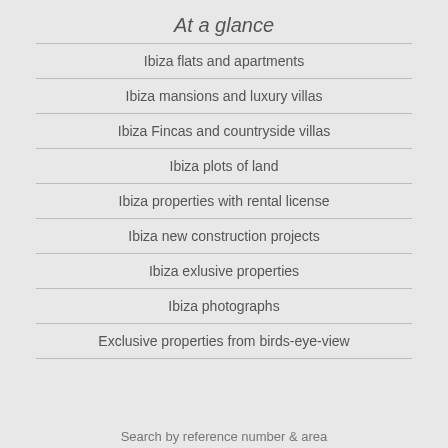At a glance
Ibiza flats and apartments
Ibiza mansions and luxury villas
Ibiza Fincas and countryside villas
Ibiza plots of land
Ibiza properties with rental license
Ibiza new construction projects
Ibiza exlusive properties
Ibiza photographs
Exclusive properties from birds-eye-view
Search by reference number & area